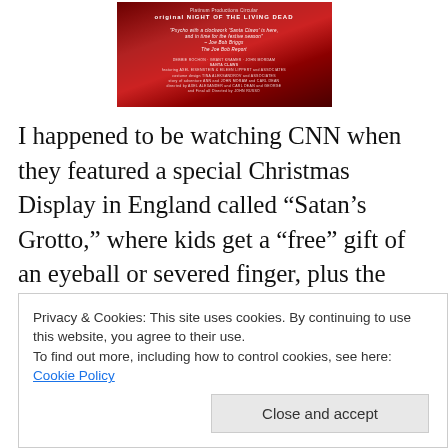[Figure (photo): Movie poster for 'Santa Claws', a horror film. Dark red background with Santa figure. Text includes production credits, 'original NIGHT OF THE LIVING DEAD' reference, a quote from Joe Bob Briggs/The Joe Bob Report, and cast/crew credits.]
I happened to be watching CNN when they featured a special Christmas Display in England called “Satan’s Grotto,” where kids get a “free” gift of an eyeball or severed finger, plus the additional chance to sign their life away. CNN said it was all tongue-cheek, but the picture of the horned-one in a Santa suit was telling. There is more
Privacy & Cookies: This site uses cookies. By continuing to use this website, you agree to their use.
To find out more, including how to control cookies, see here: Cookie Policy
anger or light while his character is based solely on lies